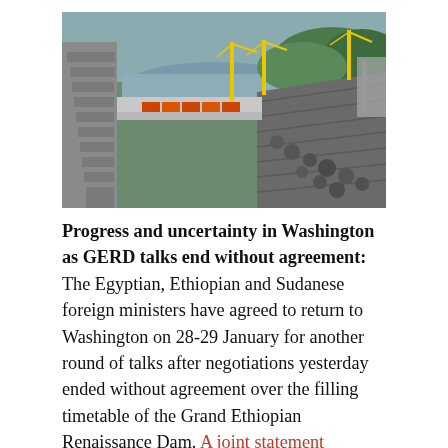[Figure (photo): Aerial view of the Grand Ethiopian Renaissance Dam (GERD) construction site, showing dam walls, cranes, construction machinery, a river, and forested hills in the background.]
Progress and uncertainty in Washington as GERD talks end without agreement: The Egyptian, Ethiopian and Sudanese foreign ministers have agreed to return to Washington on 28-29 January for another round of talks after negotiations yesterday ended without agreement over the filling timetable of the Grand Ethiopian Renaissance Dam. A joint statement released following three days of last-ditch talks said that